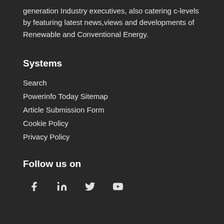generation Industry executives, also catering c-levels by featuring latest news,views and developments of Renewable and Conventional Energy.
Systems
Search
Powerinfo Today Sitemap
Article Submission Form
Cookie Policy
Privacy Policy
Follow us on
[Figure (infographic): Social media icons: Facebook, LinkedIn, Twitter, YouTube]